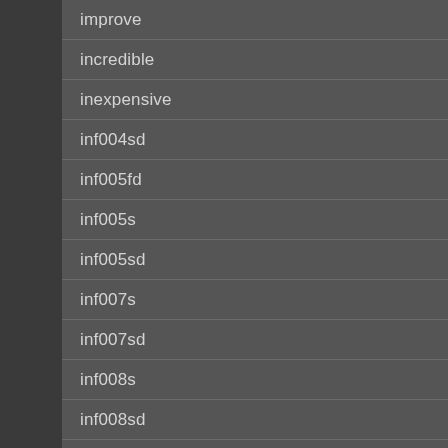improve
incredible
inexpensive
inf004sd
inf005fd
inf005s
inf005sd
inf007s
inf007sd
inf008s
inf008sd
inf012s
inf009